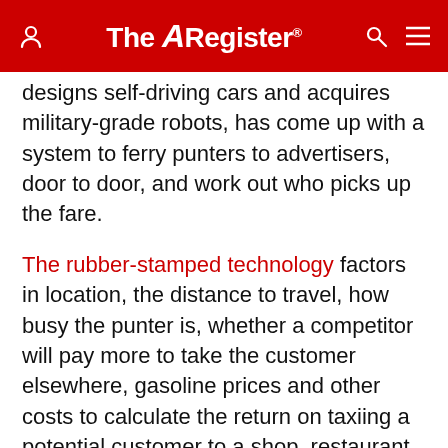The Register
designs self-driving cars and acquires military-grade robots, has come up with a system to ferry punters to advertisers, door to door, and work out who picks up the fare.
The rubber-stamped technology factors in location, the distance to travel, how busy the punter is, whether a competitor will pay more to take the customer elsewhere, gasoline prices and other costs to calculate the return on taxiing a potential customer to a shop, restaurant, office or other place of business.